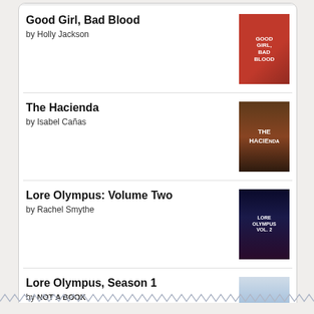Good Girl, Bad Blood by Holly Jackson
The Hacienda by Isabel Cañas
Lore Olympus: Volume Two by Rachel Smythe
Lore Olympus, Season 1 by NOT A BOOK
[Figure (logo): goodreads logo button]
[Figure (illustration): zigzag/wavy border decoration at bottom of page]